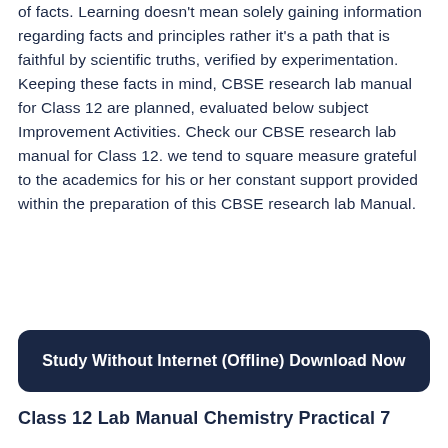of facts. Learning doesn't mean solely gaining information regarding facts and principles rather it's a path that is faithful by scientific truths, verified by experimentation. Keeping these facts in mind, CBSE research lab manual for Class 12 are planned, evaluated below subject Improvement Activities. Check our CBSE research lab manual for Class 12. we tend to square measure grateful to the academics for his or her constant support provided within the preparation of this CBSE research lab Manual.
[Figure (other): Dark navy blue rounded button with white bold text: Study Without Internet (Offline) Download Now]
Class 12 Lab Manual Chemistry Practical 7